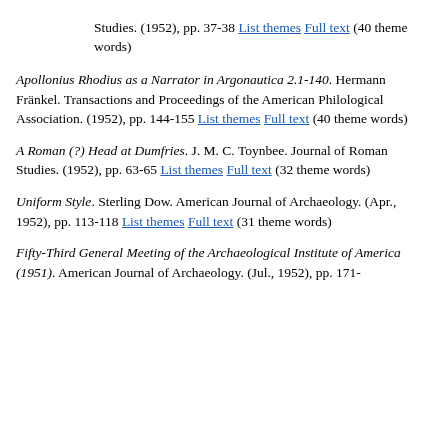Studies. (1952), pp. 37-38 List themes Full text (40 theme words)
Apollonius Rhodius as a Narrator in Argonautica 2.1-140. Hermann Fränkel. Transactions and Proceedings of the American Philological Association. (1952), pp. 144-155 List themes Full text (40 theme words)
A Roman (?) Head at Dumfries. J. M. C. Toynbee. Journal of Roman Studies. (1952), pp. 63-65 List themes Full text (32 theme words)
Uniform Style. Sterling Dow. American Journal of Archaeology. (Apr., 1952), pp. 113-118 List themes Full text (31 theme words)
Fifty-Third General Meeting of the Archaeological Institute of America (1951). American Journal of Archaeology. (Jul., 1952), pp. 171-